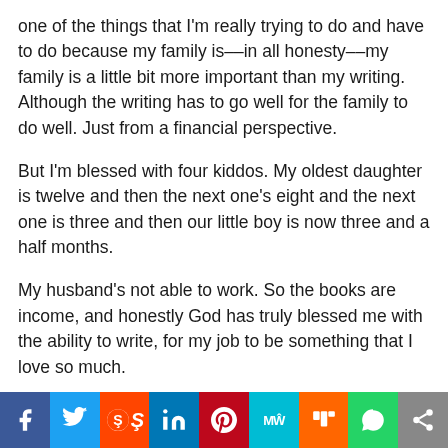one of the things that I'm really trying to do and have to do because my family is––in all honesty––my family is a little bit more important than my writing. Although the writing has to go well for the family to do well. Just from a financial perspective.
But I'm blessed with four kiddos. My oldest daughter is twelve and then the next one's eight and the next one is three and then our little boy is now three and a half months.
My husband's not able to work. So the books are income, and honestly God has truly blessed me with the ability to write, for my job to be something that I love so much.
Social share bar: Facebook, Twitter, Reddit, LinkedIn, Pinterest, MeWe, Mix, WhatsApp, Share